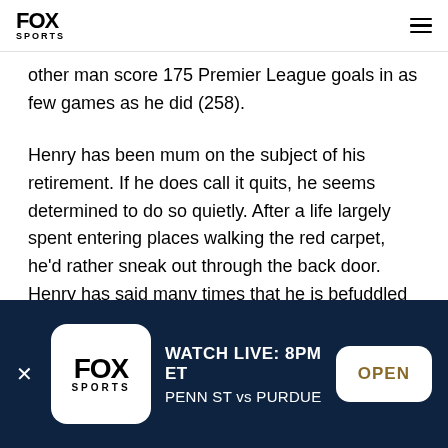FOX SPORTS
other man score 175 Premier League goals in as few games as he did (258).
Henry has been mum on the subject of his retirement. If he does call it quits, he seems determined to do so quietly. After a life largely spent entering places walking the red carpet, he'd rather sneak out through the back door. Henry has said many times that he is befuddled by his own big deal. He reiterated it to the
[Figure (infographic): Fox Sports app download banner with dark navy background showing WATCH LIVE: 8PM ET, PENN ST vs PURDUE and an OPEN button]